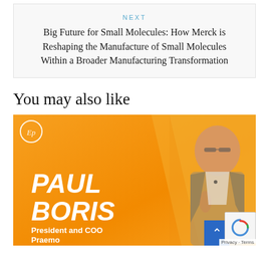NEXT
Big Future for Small Molecules: How Merck is Reshaping the Manufacture of Small Molecules Within a Broader Manufacturing Transformation
You may also like
[Figure (photo): Promotional card featuring Paul Boris, President and COO of Praemo, speaking at a conference against an orange gradient background. The EP logo appears in the top left corner. A man in a grey blazer holds a remote and speaks at a podium. Text overlay shows 'PAUL BORIS' in large italic bold white letters, with 'President and COO Praemo' below in bold white.]